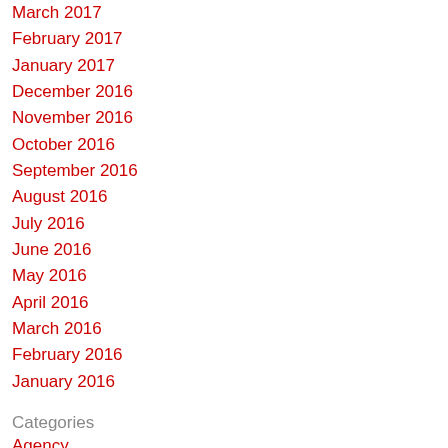March 2017
February 2017
January 2017
December 2016
November 2016
October 2016
September 2016
August 2016
July 2016
June 2016
May 2016
April 2016
March 2016
February 2016
January 2016
Categories
Agency
Other